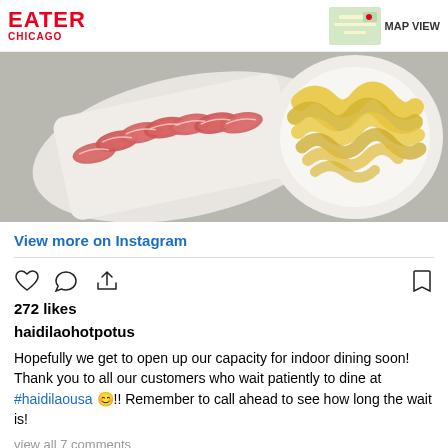EATER CHICAGO
[Figure (photo): Food photo showing sliced raw beef on a white rectangular plate and folded tofu skin noodles on a white round plate, viewed from above on a grey surface]
View more on Instagram
272 likes
haidilaohotpotus
Hopefully we get to open up our capacity for indoor dining soon! Thank you to all our customers who wait patiently to dine at #haidilaousa 😊!! Remember to call ahead to see how long the wait is!
view all 7 comments
Add a comment...